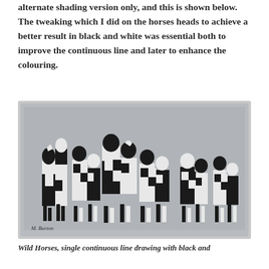alternate shading version only, and this is shown below.  The tweaking which I did on the horses heads to achieve a better result in black and white was essential both to improve the continuous line and later to enhance the colouring.
[Figure (illustration): A black and white artwork titled 'Wild Horses', a single continuous line drawing with black and white alternate shading. Shows a group of stylized horses rendered in geometric black and white checker/mosaic pattern on a grey background. Signed 'M. Burton' in lower left.]
Wild Horses, single continuous line drawing with black and